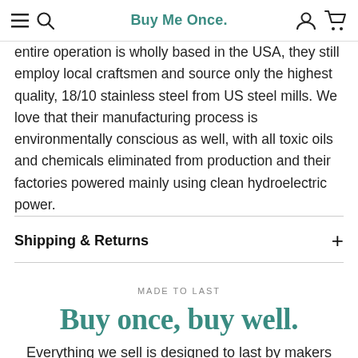Buy Me Once.
entire operation is wholly based in the USA, they still employ local craftsmen and source only the highest quality, 18/10 stainless steel from US steel mills. We love that their manufacturing process is environmentally conscious as well, with all toxic oils and chemicals eliminated from production and their factories powered mainly using clean hydroelectric power.
Shipping & Returns
MADE TO LAST
Buy once, buy well.
Everything we sell is designed to last by makers that